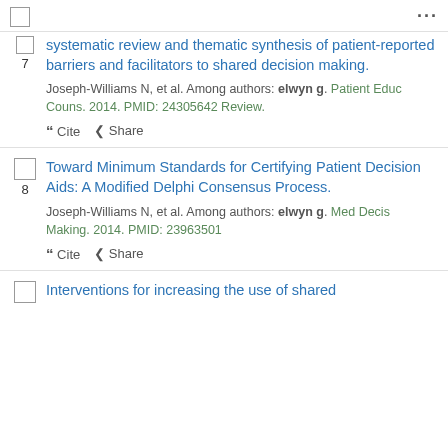7. systematic review and thematic synthesis of patient-reported barriers and facilitators to shared decision making. Joseph-Williams N, et al. Among authors: elwyn g. Patient Educ Couns. 2014. PMID: 24305642 Review.
8. Toward Minimum Standards for Certifying Patient Decision Aids: A Modified Delphi Consensus Process. Joseph-Williams N, et al. Among authors: elwyn g. Med Decis Making. 2014. PMID: 23963501
9. Interventions for increasing the use of shared...